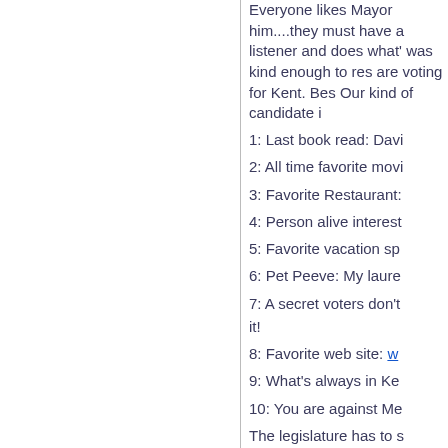Everyone likes Mayor him....they must have a listener and does what' was kind enough to res are voting for Kent. Bes Our kind of candidate i
1: Last book read: Davi
2: All time favorite movi
3: Favorite Restaurant:
4: Person alive interest
5: Favorite vacation sp
6: Pet Peeve: My laure
7: A secret voters don't it!
8: Favorite web site: w
9: What's always in Ke
10: You are against Me
The legislature has to s develop a list of prioritie